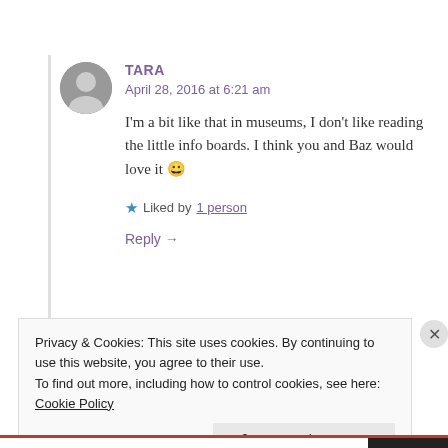TARA
April 28, 2016 at 6:21 am
I'm a bit like that in museums, I don't like reading the little info boards. I think you and Baz would love it 🙂
★ Liked by 1 person
Reply →
Privacy & Cookies: This site uses cookies. By continuing to use this website, you agree to their use.
To find out more, including how to control cookies, see here: Cookie Policy
Close and accept